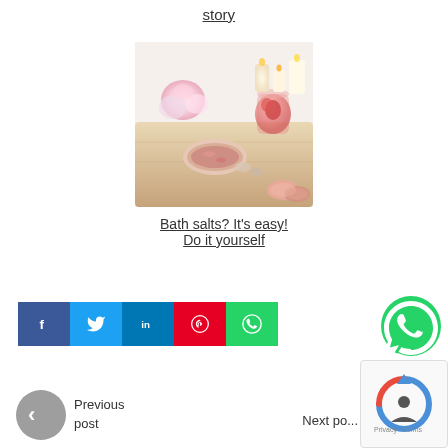story
[Figure (photo): Spa/bath tray with bath salts in a shell dish, macarons, flowers, candles, and a strawberry drink on a wooden tray]
Bath salts? It's easy!
Do it yourself
[Figure (infographic): Social share buttons: Facebook (blue), Twitter (light blue), LinkedIn (blue), Pinterest (red), WhatsApp (green)]
[Figure (logo): WhatsApp green icon with phone symbol]
Previous post
Next po...
[Figure (logo): reCAPTCHA logo box - Privacy Terms]